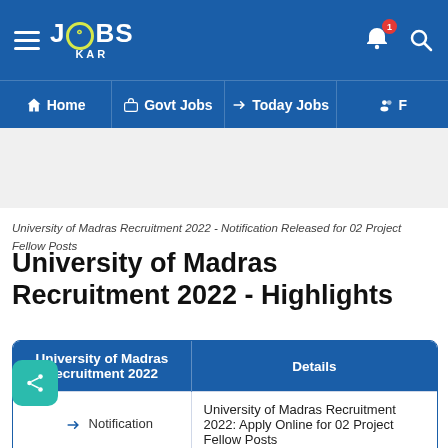JOBS KAR — Home | Govt Jobs | Today Jobs | F
University of Madras Recruitment 2022 - Notification Released for 02 Project Fellow Posts
University of Madras Recruitment 2022 - Highlights
| University of Madras Recruitment 2022 | Details |
| --- | --- |
| Notification | University of Madras Recruitment 2022: Apply Online for 02 Project Fellow Posts |